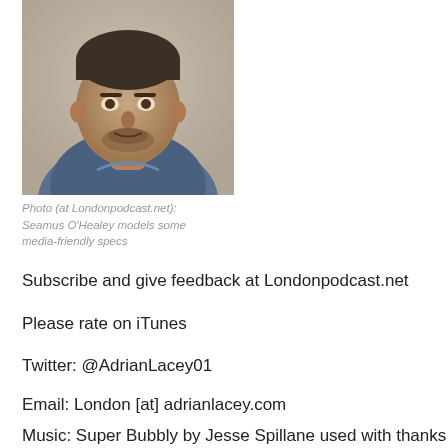[Figure (photo): Portrait photo of a middle-aged man with short dark hair and stubble, wearing a blue denim shirt, photographed from the chest up against a light background.]
Photo (at Londonpodcast.net): Seamus O'Healey models some media-friendly specs
Subscribe and give feedback at Londonpodcast.net
Please rate on iTunes
Twitter: @AdrianLacey01
Email: London [at] adrianlacey.com
Facebook: @theLondonPodcast
Music: Super Bubbly by Jesse Spillane used with thanks under